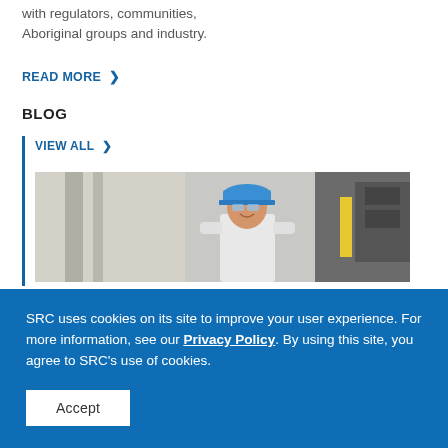with regulators, communities, Aboriginal groups and industry.
READ MORE >
BLOG
VIEW ALL >
[Figure (photo): A man wearing a blue hard hat and safety glasses smiling in an industrial facility with machinery and equipment in the background.]
SRC uses cookies on its site to improve your user experience. For more information, see our Privacy Policy. By using this site, you agree to SRC's use of cookies.
Accept